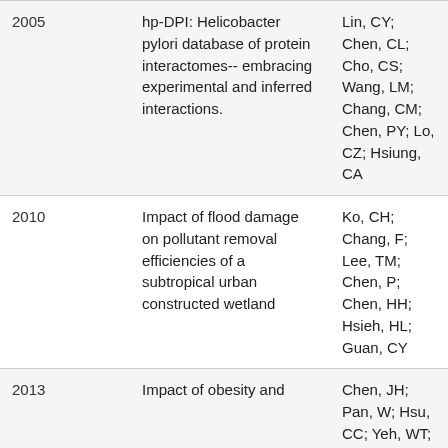| Year | Title | Authors |
| --- | --- | --- |
| 2005 | hp-DPI: Helicobacter pylori database of protein interactomes--embracing experimental and inferred interactions. | Lin, CY; Chen, CL; Cho, CS; Wang, LM; Chang, CM; Chen, PY; Lo, CZ; Hsiung, CA |
| 2010 | Impact of flood damage on pollutant removal efficiencies of a subtropical urban constructed wetland | Ko, CH; Chang, F; Lee, TM; Chen, P; Chen, HH; Hsieh, HL; Guan, CY |
| 2013 | Impact of obesity and... | Chen, JH; Pan, W; Hsu, CC; Yeh, WT; Chang, CY; Sh... |